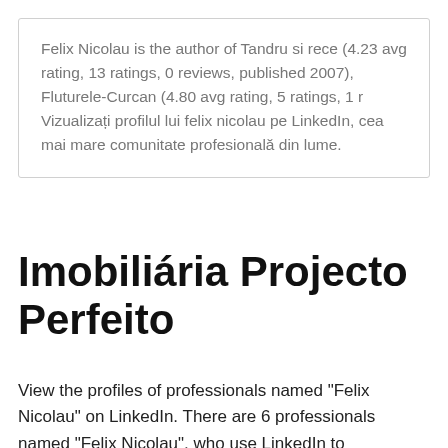Felix Nicolau is the author of Tandru si rece (4.23 avg rating, 13 ratings, 0 reviews, published 2007), Fluturele-Curcan (4.80 avg rating, 5 ratings, 1 r Vizualizați profilul lui felix nicolau pe LinkedIn, cea mai mare comunitate profesională din lume.
Imobiliária Projecto Perfeito
View the profiles of professionals named "Felix Nicolau" on LinkedIn. There are 6 professionals named "Felix Nicolau", who use LinkedIn to